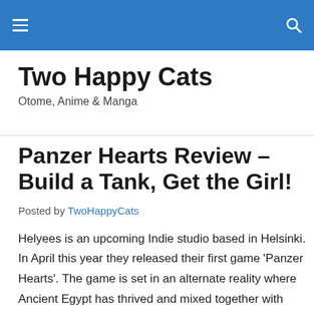Two Happy Cats — navigation header bar
Two Happy Cats
Otome, Anime & Manga
Panzer Hearts Review – Build a Tank, Get the Girl!
Posted by TwoHappyCats
Helyees is an upcoming Indie studio based in Helsinki. In April this year they released their first game 'Panzer Hearts'. The game is set in an alternate reality where Ancient Egypt has thrived and mixed together with WW2 Germany. In this visual novel you play as Bastian, a young